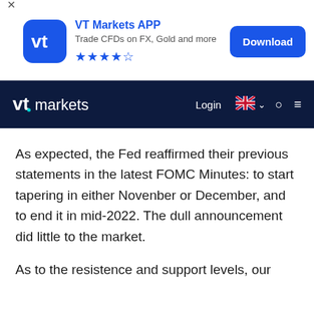[Figure (screenshot): VT Markets APP advertisement banner with logo, title 'VT Markets APP', subtitle 'Trade CFDs on FX, Gold and more', star rating, and Download button]
[Figure (screenshot): VT Markets navigation bar with logo, Login link, UK flag language selector, search icon, and hamburger menu]
As expected, the Fed reaffirmed their previous statements in the latest FOMC Minutes: to start tapering in either Novenber or December, and to end it in mid-2022. The dull announcement did little to the market.
As to the resistence and support levels, our